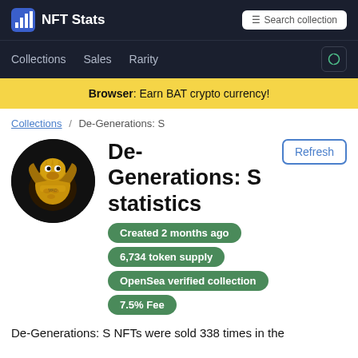NFT Stats
Collections  Sales  Rarity
Browser: Earn BAT crypto currency!
Collections / De-Generations: S
De-Generations: S statistics
Created 2 months ago
6,734 token supply
OpenSea verified collection
7.5% Fee
De-Generations: S NFTs were sold 338 times in the